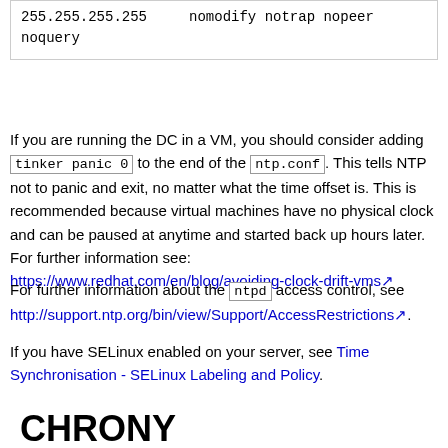255.255.255.255     nomodify notrap nopeer noquery
If you are running the DC in a VM, you should consider adding tinker panic 0 to the end of the ntp.conf. This tells NTP not to panic and exit, no matter what the time offset is. This is recommended because virtual machines have no physical clock and can be paused at anytime and started back up hours later. For further information see: https://www.redhat.com/en/blog/avoiding-clock-drift-vms
For further information about the ntpd access control, see http://support.ntp.org/bin/view/Support/AccessRestrictions.
If you have SELinux enabled on your server, see Time Synchronisation - SELinux Labeling and Policy.
CHRONY